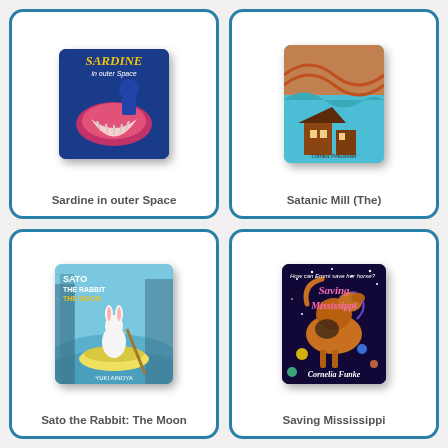[Figure (illustration): Book cover for Sardine in outer Space showing colorful cartoon illustration with title in yellow stylized text]
Sardine in outer Space
[Figure (illustration): Book cover for Satanic Mill (The) showing teal/blue background with buildings and figures]
Satanic Mill (The)
[Figure (illustration): Book cover for Sato the Rabbit: The Moon showing a white rabbit in a yellow boat on blue water, title text in white and yellow]
Sato the Rabbit: The Moon
[Figure (illustration): Book cover for Saving Mississippi showing a horse against dark purple starry background with pink title text and Cornelia Funke author name]
Saving Mississippi